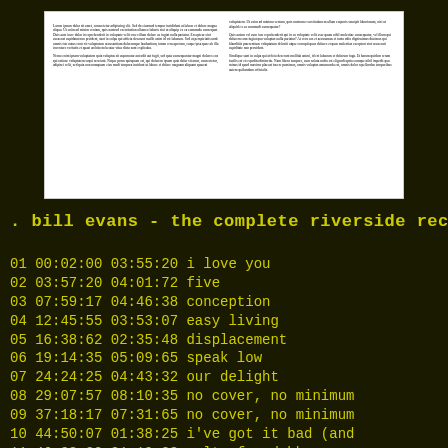[Figure (other): Thumbnail preview of a text document page with two columns of small printed text on white background]
. bill evans - the complete riverside recordings volume 1
01   00:02:00   03:55:20   i love you
02   03:57:20   04:01:72   five
03   07:59:17   04:46:38   conception
04   12:45:55   03:53:07   easy living
05   16:38:62   02:35:48   displacement
06   19:14:35   05:09:65   speak low
07   24:24:25   04:43:32   our delight
08   29:07:57   08:10:35   no cover, no minimum
09   37:18:17   07:31:65   no cover, no minimum
10   44:50:07   01:38:25   i've got it bad (and
11   46:28:32   01:19:08   waltz for debby
12   47:47:40   01:58:52   my romance
13   49:46:17   05:21:70   minority
14   55:08:12   05:52:05   young and foolish